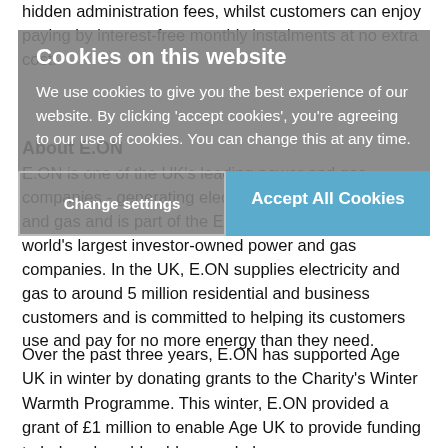hidden administration fees, whilst customers can enjoy paying by interest-free monthly instalments at no extra cost.
Cookies on this website
We use cookies to give you the best experience of our website. By clicking 'accept cookies', you're agreeing to our use of cookies. You can change this at any time.
About E.ON
E.ON is one of the UK's leading power and gas companies - generating electricity, and retailing power and gas and is part of the E.ON group, one of the world's largest investor-owned power and gas companies. In the UK, E.ON supplies electricity and gas to around 5 million residential and business customers and is committed to helping its customers use and pay for no more energy than they need.
Change settings
Accept All Cookies
Over the past three years, E.ON has supported Age UK in winter by donating grants to the Charity's Winter Warmth Programme. This winter, E.ON provided a grant of £1 million to enable Age UK to provide funding to help vulnerable older people keep warm